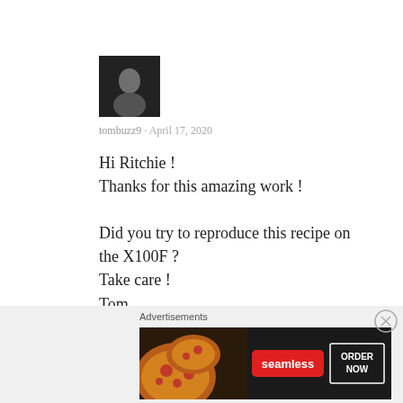[Figure (photo): Small black and white avatar photo of a person]
tombuzz9 · April 17, 2020
Hi Ritchie !
Thanks for this amazing work !

Did you try to reproduce this recipe on the X100F ?
Take care !
Tom
Advertisements
[Figure (screenshot): Seamless food delivery advertisement banner with pizza image, seamless logo, and ORDER NOW button]